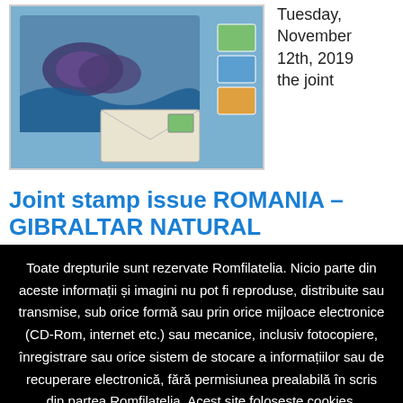[Figure (photo): Stamp collection image showing colorful postage stamps from Romania and Gibraltar with nature scenes, butterflies, and envelopes]
Tuesday, November 12th, 2019 the joint
Joint stamp issue ROMANIA – GIBRALTAR NATURAL
Toate drepturile sunt rezervate Romfilatelia. Nicio parte din aceste informații și imagini nu pot fi reproduse, distribuite sau transmise, sub orice formă sau prin orice mijloace electronice (CD-Rom, internet etc.) sau mecanice, inclusiv fotocopiere, înregistrare sau orice sistem de stocare a informațiilor sau de recuperare electronică, fără permisiunea prealabilă în scris din partea Romfilatelia. Acest site folosește cookies. Navigând în continuare vă exprimați acordul asupra folosirii cookie-urilor.
I agree Detalii